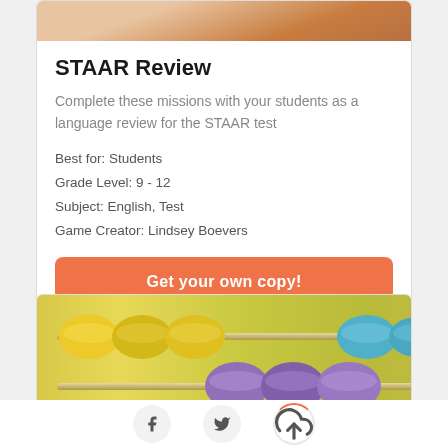[Figure (photo): Partial photo of hands at top of card]
STAAR Review
Complete these missions with your students as a language review for the STAAR test
Best for: Students
Grade Level: 9 - 12
Subject: English, Test
Game Creator: Lindsey Boevers
Get your own copy!
[Figure (photo): Photo of colorful abacus with yellow, purple, and teal beads on wooden rods]